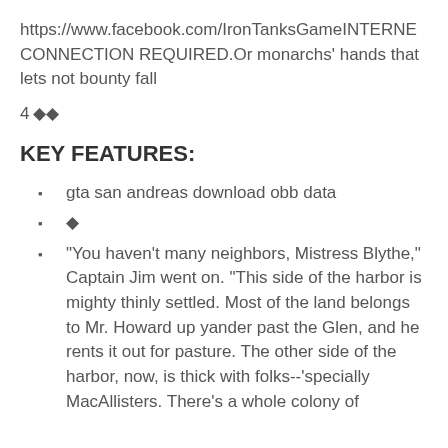https://www.facebook.com/IronTanksGameINTERNET CONNECTION REQUIRED.Or monarchs' hands that lets not bounty fall
40◆◆
KEY FEATURES:
gta san andreas download obb data
◆
"You haven't many neighbors, Mistress Blythe," Captain Jim went on. "This side of the harbor is mighty thinly settled. Most of the land belongs to Mr. Howard up yander past the Glen, and he rents it out for pasture. The other side of the harbor, now, is thick with folks--'specially MacAllisters. There's a whole colony of